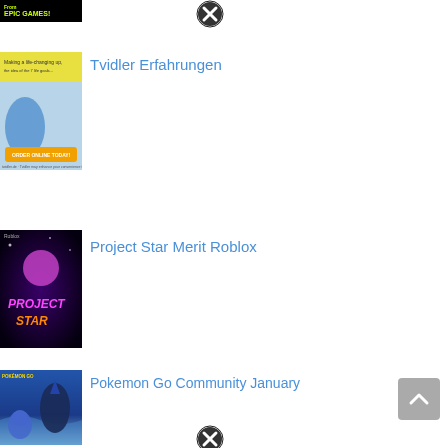[Figure (screenshot): Epic Games promotional banner thumbnail at top left]
[Figure (other): Close/X button circle icon]
[Figure (screenshot): Tvidler Erfahrungen article thumbnail showing product advertisement]
Tvidler Erfahrungen
[Figure (screenshot): Project Star Merit Roblox article thumbnail with purple game logo]
Project Star Merit Roblox
[Figure (screenshot): Pokemon Go Community January article thumbnail showing Piplup and Empoleon]
Pokemon Go Community January
[Figure (screenshot): Unchained Cleaner Review article thumbnail with dark green/black imagery]
Unchained Cleaner Review
[Figure (other): Close/X button circle icon at bottom]